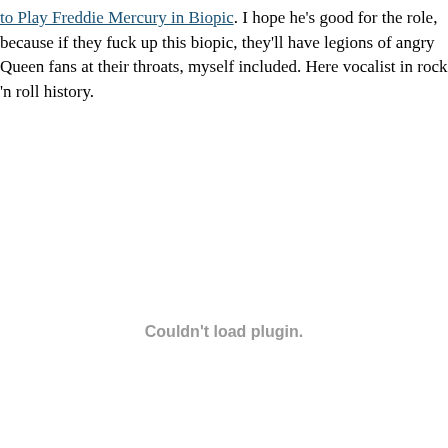to Play Freddie Mercury in Biopic. I hope he's good for the role, because if they fuck up this biopic, they'll have legions of angry Queen fans at their throats, myself included. Here vocalist in rock 'n roll history.
Couldn't load plugin.